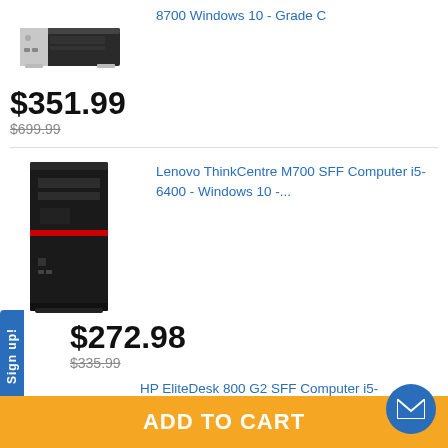8700 Windows 10 - Grade C
[Figure (photo): HP EliteDesk small form factor desktop computer, silver and black, front view]
$351.99
$699.99
Lenovo ThinkCentre M700 SFF Computer i5-6400 - Windows 10 -...
[Figure (photo): Lenovo ThinkCentre M700 SFF desktop computer, black, front view]
$272.98
$335.99
HP EliteDesk 800 G2 SFF Computer i5-
Sign up!
Sign up!
ADD TO CART